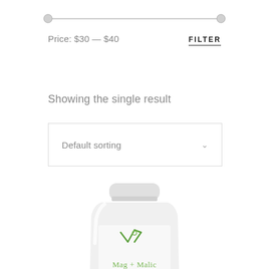[Figure (other): Price range slider with two circular handles on a horizontal track, left handle at far left, right handle at far right]
Price: $30 — $40
FILTER
Showing the single result
Default sorting
[Figure (photo): White supplement bottle with green V logo and 'Mag + Malic' text on label, partially cropped at bottom]